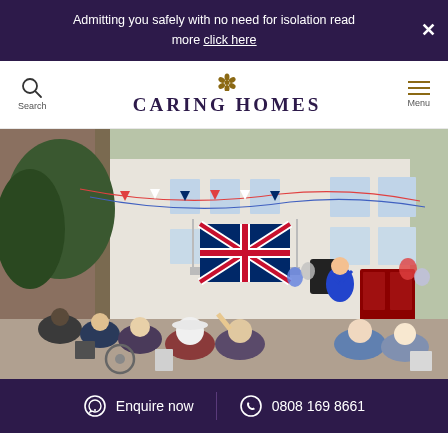Admitting you safely with no need for isolation read more click here
[Figure (logo): Caring Homes logo with flower icon and search/menu navigation]
[Figure (photo): Outdoor celebration event at a care home with residents and performers, Union Jack flags and bunting decorating a white building]
Enquire now  0808 169 8661